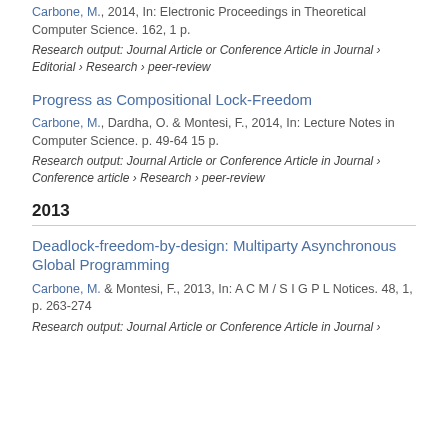Carbone, M., 2014, In: Electronic Proceedings in Theoretical Computer Science. 162, 1 p.
Research output: Journal Article or Conference Article in Journal › Editorial › Research › peer-review
Progress as Compositional Lock-Freedom
Carbone, M., Dardha, O. & Montesi, F., 2014, In: Lecture Notes in Computer Science. p. 49-64 15 p.
Research output: Journal Article or Conference Article in Journal › Conference article › Research › peer-review
2013
Deadlock-freedom-by-design: Multiparty Asynchronous Global Programming
Carbone, M. & Montesi, F., 2013, In: A C M / S I G P L Notices. 48, 1, p. 263-274
Research output: Journal Article or Conference Article in Journal ›